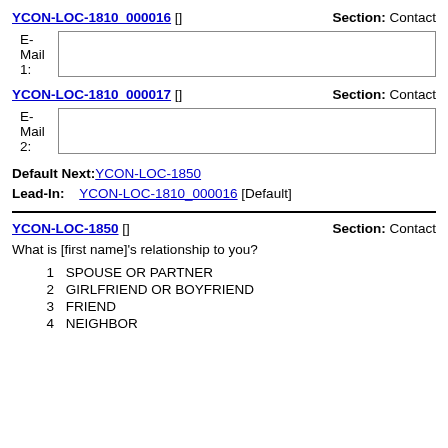YCON-LOC-1810_000016 []   Section: Contact
E-Mail 1:
YCON-LOC-1810_000017 []   Section: Contact
E-Mail 2:
Default Next: YCON-LOC-1850
Lead-In: YCON-LOC-1810_000016 [Default]
YCON-LOC-1850 []   Section: Contact
What is [first name]'s relationship to you?
1  SPOUSE OR PARTNER
2  GIRLFRIEND OR BOYFRIEND
3  FRIEND
4  NEIGHBOR